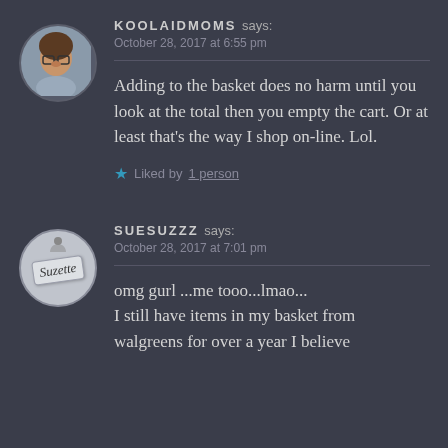KOOLAIDMOMS says: October 28, 2017 at 6:55 pm
Adding to the basket does no harm until you look at the total then you empty the cart. Or at least that's the way I shop on-line. Lol.
Liked by 1 person
SUESUZZZ says: October 28, 2017 at 7:01 pm
omg gurl ...me tooo...lmao... I still have items in my basket from walgreens for over a year I believe